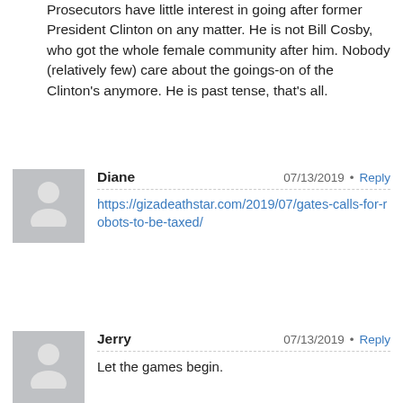Prosecutors have little interest in going after former President Clinton on any matter. He is not Bill Cosby, who got the whole female community after him. Nobody (relatively few) care about the goings-on of the Clinton's anymore. He is past tense, that's all.
Diane · 07/13/2019 · Reply
https://gizadeathstar.com/2019/07/gates-calls-for-robots-to-be-taxed/
Jerry · 07/13/2019 · Reply
Let the games begin.
https://www.nytimes.com/2019/07/11/us/politics/ice-families-deport.html
FYI – mass arrest have never stopped. Over the past 12 months I have reported on Greg's site information from my sources documenting DHS vehicles making arrest in and around the